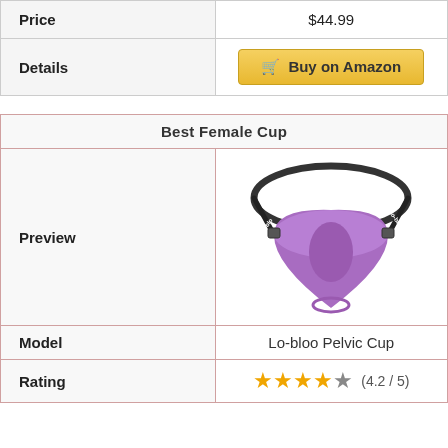|  |  |
| --- | --- |
| Price | $44.99 |
| Details | Buy on Amazon |
| Best Female Cup |  |
| --- | --- |
| Preview | [image of Lo-bloo Pelvic Cup] |
| Model | Lo-bloo Pelvic Cup |
| Rating | ★★★★☆ (4.2 / 5) |